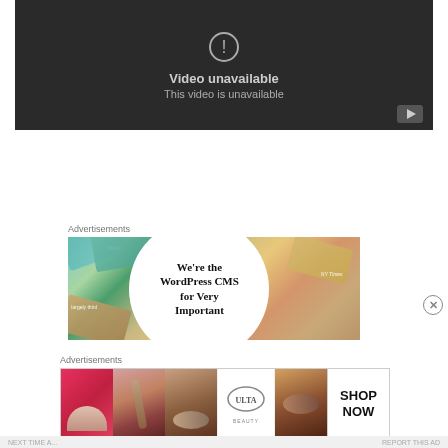[Figure (screenshot): YouTube video player showing 'Video unavailable / This video is unavailable' error message on dark background with YouTube logo button in bottom right]
Advertisements
[Figure (photo): WordPress CMS advertisement banner showing colorful cards with Meta, Facebook text and circular white center reading 'We're the WordPress CMS for Very Important']
Advertisements
[Figure (photo): Ulta Beauty advertisement banner showing makeup/cosmetics images with red lips, brushes, eye close-ups, Ulta logo, and SHOP NOW button]